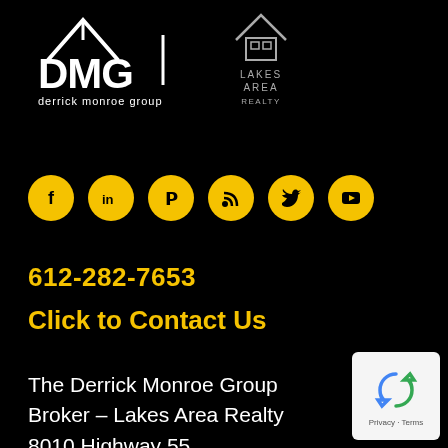[Figure (logo): DMG Derrick Monroe Group logo (white) and Lakes Area Realty logo (white) side by side on black background]
[Figure (infographic): Six gold social media icons in circles: Facebook, LinkedIn, Pinterest, RSS, Twitter, YouTube]
612-282-7653
Click to Contact Us
The Derrick Monroe Group
Broker – Lakes Area Realty
8010 Highway 55
Rockford, MN 55373
Click Here for Map
[Figure (logo): reCAPTCHA Privacy - Terms badge]